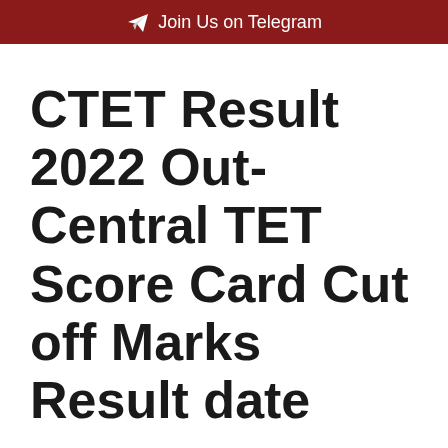Join Us on Telegram
CTET Result 2022 Out-Central TET Score Card Cut off Marks Result date
August 11, 2022 by easyinfogama72